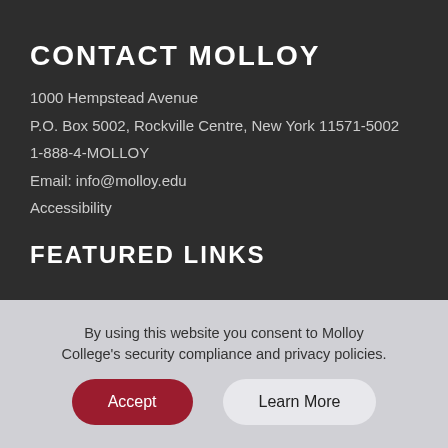CONTACT MOLLOY
1000 Hempstead Avenue
P.O. Box 5002, Rockville Centre, New York 11571-5002
1-888-4-MOLLOY
Email: info@molloy.edu
Accessibility
FEATURED LINKS
By using this website you consent to Molloy College's security compliance and privacy policies.
Accept
Learn More